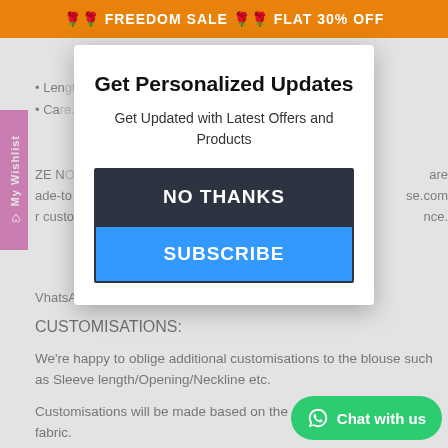🌹🌹 FREEDOM SALE 🌹🌹 FLAT 30% OFF
Get Personalized Updates
Get Updated with Latest Offers and Products
NO THANKS
SUBSCRIBE
WhatsApp: +91 81000 00001 Or call on +91 8880811012
CUSTOMISATIONS:
We're happy to oblige additional customisations to the blouse such as Sleeve length/Opening/Neckline etc.
Customisations will be made based on the availability of the fabric.